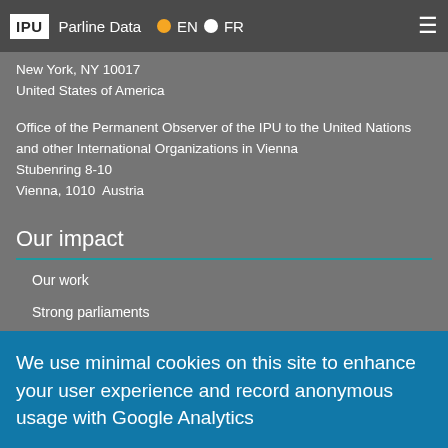IPU | Parline Data | EN | FR
New York, NY 10017
United States of America
Office of the Permanent Observer of the IPU to the United Nations and other International Organizations in Vienna
Stubenring 8-10
Vienna, 1010  Austria
Our impact
Our work
Strong parliaments
Gender equality
Parliamentary dialogue
Human rights
Sustainable development
Peacebuilding
We use minimal cookies on this site to enhance your user experience and record anonymous usage with Google Analytics